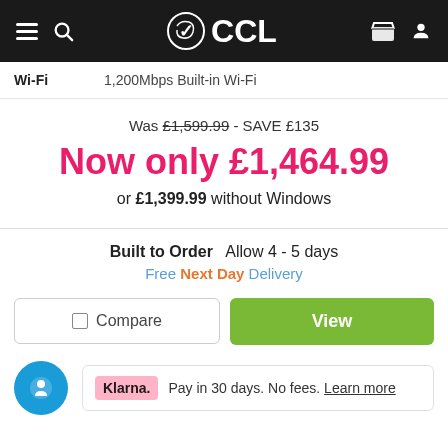CCL
| Wi-Fi |  |
| --- | --- |
| Wi-Fi | 1,200Mbps Built-in Wi-Fi |
Was £1,599.99 - SAVE £135
Now only £1,464.99
or £1,399.99 without Windows
Built to Order   Allow 4 - 5 days
Free Next Day Delivery
Compare
View
Klarna.  Pay in 30 days. No fees. Learn more